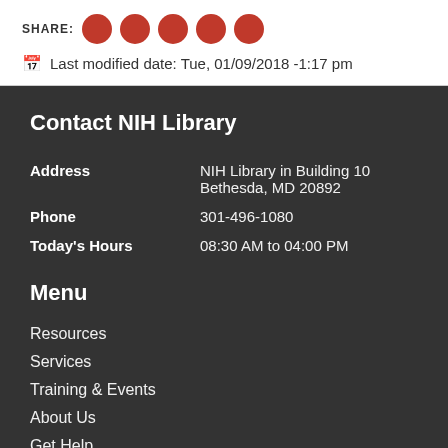Last modified date: Tue, 01/09/2018 -1:17 pm
Contact NIH Library
| Address | NIH Library in Building 10 Bethesda, MD 20892 |
| Phone | 301-496-1080 |
| Today's Hours | 08:30 AM to 04:00 PM |
Menu
Resources
Services
Training & Events
About Us
Get Help